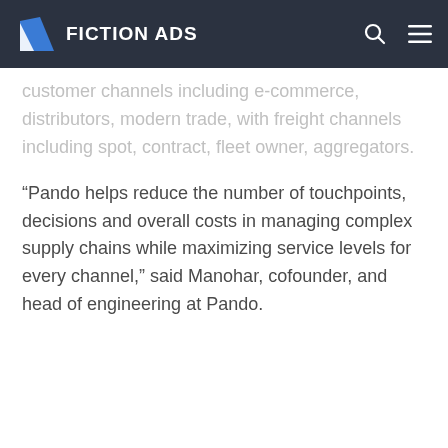FICTION ADS
customer channels including e-commerce, distributors, modern trade, with freight channels including spot, contract, fleet owner, aggregators.
“Pando helps reduce the number of touchpoints, decisions and overall costs in managing complex supply chains while maximizing service levels for every channel,” said Manohar, cofounder, and head of engineering at Pando.